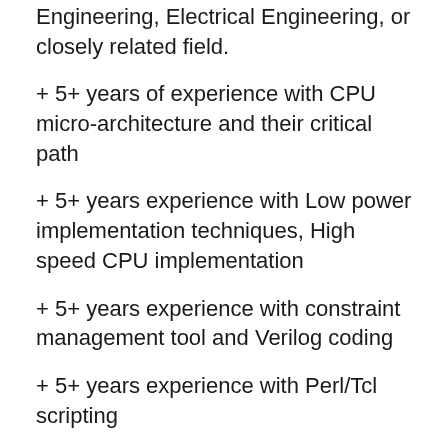Master's degree in Computer Science, Computer Engineering, Electrical Engineering, or closely related field.
+ 5+ years of experience with CPU micro-architecture and their critical path
+ 5+ years experience with Low power implementation techniques, High speed CPU implementation
+ 5+ years experience with constraint management tool and Verilog coding
+ 5+ years experience with Perl/Tcl scripting
+ 5+ years of work experience in a role requiring interaction with executive leadership (e.g., Vice President level and above).